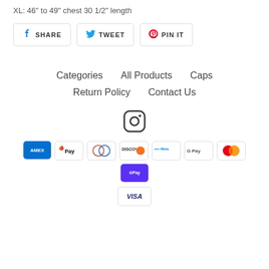XL: 46" to 49" chest 30 1/2" length
SHARE   TWEET   PIN IT
Categories   All Products   Caps   Return Policy   Contact Us
[Figure (logo): Instagram icon]
[Figure (infographic): Payment method logos: American Express, Apple Pay, Diners Club, Discover, Meta Pay, Google Pay, Mastercard, Shop Pay, Visa]